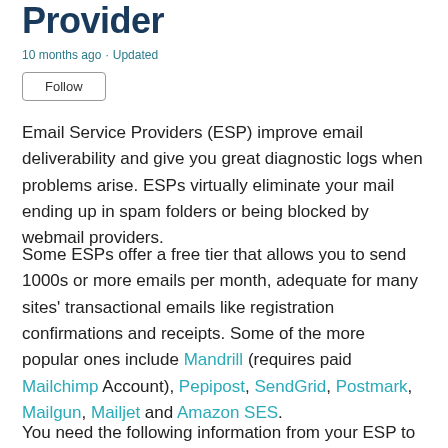Provider
10 months ago · Updated
Follow
Email Service Providers (ESP) improve email deliverability and give you great diagnostic logs when problems arise. ESPs virtually eliminate your mail ending up in spam folders or being blocked by webmail providers.
Some ESPs offer a free tier that allows you to send 1000s or more emails per month, adequate for many sites' transactional emails like registration confirmations and receipts. Some of the more popular ones include Mandrill (requires paid Mailchimp Account), Pepipost, SendGrid, Postmark, Mailgun, Mailjet and Amazon SES.
You need the following information from your ESP to